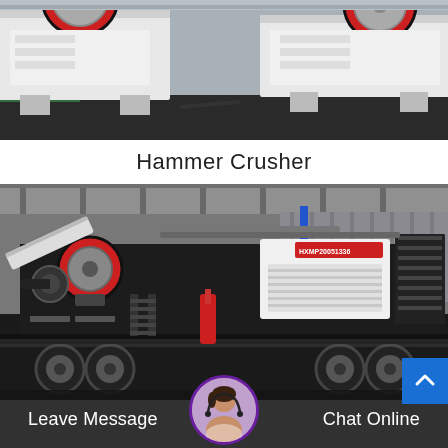[Figure (photo): Industrial hammer crusher machines in a factory setting, showing large white/grey crushing units with red flywheels on a dark floor]
Hammer Crusher
[Figure (photo): Mobile crushing plant on a trailer/truck chassis inside an industrial warehouse, black and white unit with red accents, label HXMP20051336 visible]
Leave Message
Chat Online